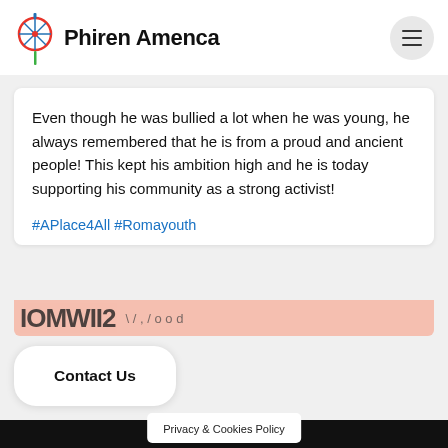Phiren Amenca
Even though he was bullied a lot when he was young, he always remembered that he is from a proud and ancient people! This kept his ambition high and he is today supporting his community as a strong activist!
#APlace4All #Romayouth
[Figure (photo): Partially visible colorful image strip at the bottom of a social media card with pink/salmon background]
Contact Us
Privacy & Cookies Policy